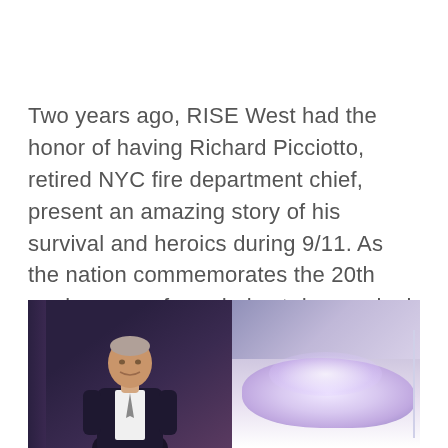Two years ago, RISE West had the honor of having Richard Picciotto, retired NYC fire department chief, present an amazing story of his survival and heroics during 9/11. As the nation commemorates the 20th anniversary of our darkest day, we look back on his inspiring keynote.
[Figure (photo): Photo showing a man (Richard Picciotto) speaking at a podium on the left side, and a large projection screen with clouds on the right side, at a conference event.]